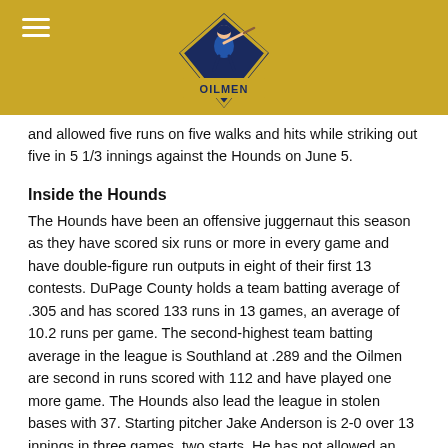Oilmen logo header bar
and allowed five runs on five walks and hits while striking out five in 5 1/3 innings against the Hounds on June 5.
Inside the Hounds
The Hounds have been an offensive juggernaut this season as they have scored six runs or more in every game and have double-figure run outputs in eight of their first 13 contests. DuPage County holds a team batting average of .305 and has scored 133 runs in 13 games, an average of 10.2 runs per game. The second-highest team batting average in the league is Southland at .289 and the Oilmen are second in runs scored with 112 and have played one more game. The Hounds also lead the league in stolen bases with 37. Starting pitcher Jake Anderson is 2-0 over 13 innings in three games, two starts. He has not allowed an earned run (one unearned run) and just four hits while walking three and striking out 12.
About the Matchup
The Oilmen and Hounds are tied 28-28 in an evenly matched all-time series